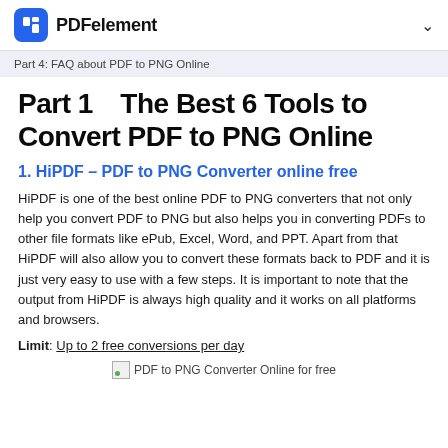PDFelement
Part 4: FAQ about PDF to PNG Online
Part 1　The Best 6 Tools to Convert PDF to PNG Online
1. HiPDF – PDF to PNG Converter online free
HiPDF is one of the best online PDF to PNG converters that not only help you convert PDF to PNG but also helps you in converting PDFs to other file formats like ePub, Excel, Word, and PPT. Apart from that HiPDF will also allow you to convert these formats back to PDF and it is just very easy to use with a few steps. It is important to note that the output from HiPDF is always high quality and it works on all platforms and browsers.
Limit: Up to 2 free conversions per day
[Figure (other): PDF to PNG Converter Online for free thumbnail image]